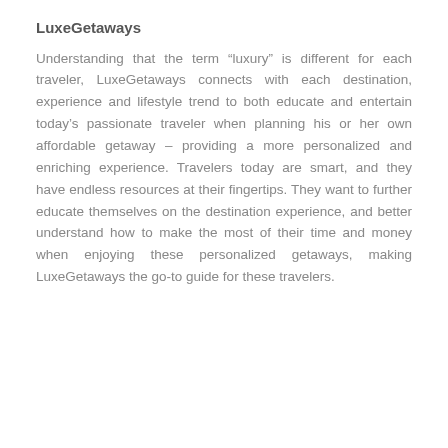LuxeGetaways
Understanding that the term “luxury” is different for each traveler, LuxeGetaways connects with each destination, experience and lifestyle trend to both educate and entertain today’s passionate traveler when planning his or her own affordable getaway – providing a more personalized and enriching experience. Travelers today are smart, and they have endless resources at their fingertips. They want to further educate themselves on the destination experience, and better understand how to make the most of their time and money when enjoying these personalized getaways, making LuxeGetaways the go-to guide for these travelers.